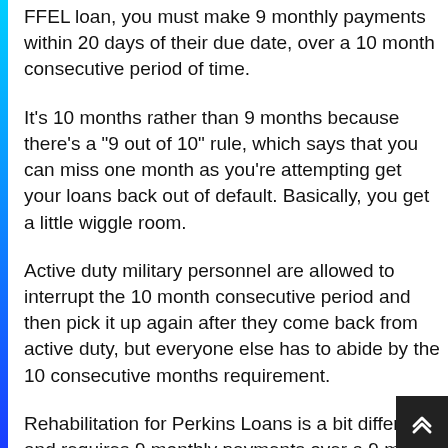FFEL loan, you must make 9 monthly payments within 20 days of their due date, over a 10 month consecutive period of time.
It's 10 months rather than 9 months because there's a "9 out of 10" rule, which says that you can miss one month as you're attempting get your loans back out of default. Basically, you get a little wiggle room.
Active duty military personnel are allowed to interrupt the 10 month consecutive period and then pick it up again after they come back from active duty, but everyone else has to abide by the 10 consecutive months requirement.
Rehabilitation for Perkins Loans is a bit different and requires 9 monthly payments over a 9 month consecutive period (meaning you can't miss a single payment for 9 months straight).